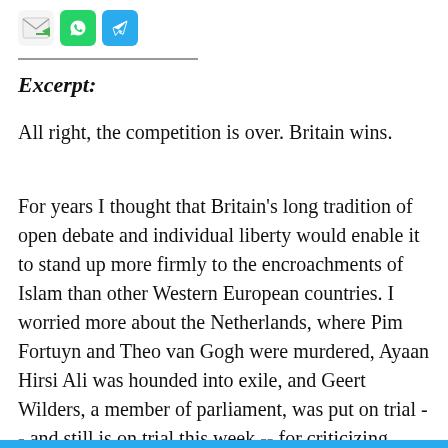[Figure (other): Three social sharing icons: email (envelope with green arrow), WhatsApp (green phone icon), Telegram (blue paper plane icon)]
Excerpt:
All right, the competition is over. Britain wins.
For years I thought that Britain's long tradition of open debate and individual liberty would enable it to stand up more firmly to the encroachments of Islam than other Western European countries. I worried more about the Netherlands, where Pim Fortuyn and Theo van Gogh were murdered, Ayaan Hirsi Ali was hounded into exile, and Geert Wilders, a member of parliament, was put on trial -- and still is on trial this week -- for criticizing Islam in